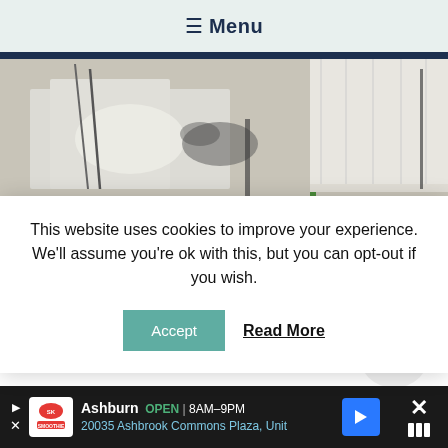≡ Menu
[Figure (photo): A room interior with plastic sheeting on the floor, scattered debris, tools, and white paneled walls — appears to be a remediation or renovation in progress]
This website uses cookies to improve your experience. We'll assume you're ok with this, but you can opt-out if you wish.
Accept   Read More
Ashburn  OPEN | 8AM–9PM  20035 Ashbrook Commons Plaza, Unit